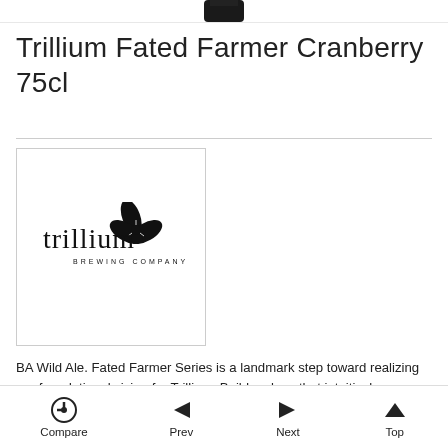[Figure (photo): Top portion of a dark bottle visible at the top of the page]
Trillium Fated Farmer Cranberry 75cl
[Figure (logo): Trillium Brewing Company logo — stylized 'trillium' text with a trillium flower illustration and 'BREWING COMPANY' text below]
BA Wild Ale. Fated Farmer Series is a landmark step toward realizing our foundational vision for Trillium: Build a place that intuitively celebrates the intersection of New England farming, agriculture, brewing, and integrated community experience. The grist of each of the dynamic Fated Farmer wild ales is set on the structure of Valley Malt and is barrel fermented in 500L puncheons with our Native New England Wild Culture and aged for 5-7 months, before refermenting on freshly
Compare  Prev  Next  Top